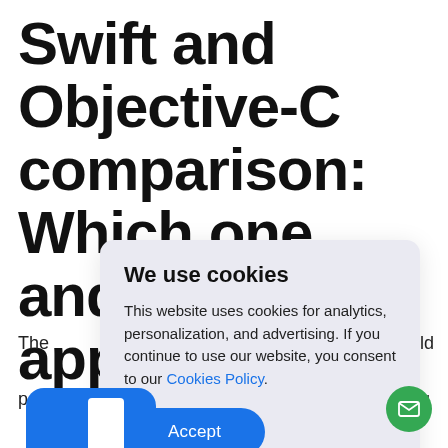Swift and Objective-C comparison: Which one and when to apply it
The [cookie modal obscures text] ...uld pay ...ng lan ...dep exp
[Figure (screenshot): Cookie consent modal dialog with title 'We use cookies', body text explaining cookie usage for analytics, personalization, and advertising, a 'Cookies Policy' link, and a blue 'Accept' button. Overlaid on a webpage article about Swift and Objective-C comparison.]
[Figure (illustration): Blue rounded rectangle icon at bottom left with white element inside, resembling a document or app icon. Green circular chat/email button at bottom right.]